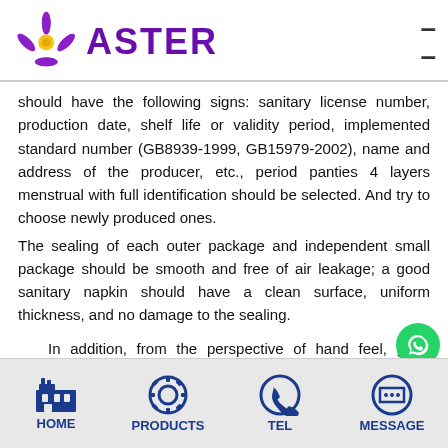ASTER
should have the following signs: sanitary license number, production date, shelf life or validity period, implemented standard number (GB8939-1999, GB15979-2002), name and address of the producer, etc., period panties 4 layers menstrual with full identification should be selected. And try to choose newly produced ones.
The sealing of each outer package and independent small package should be smooth and free of air leakage; a good sanitary napkin should have a clean surface, uniform thickness, and no damage to the sealing.
In addition, from the perspective of hand feel, good p panties 4 layers menstrual are made of fluff pulp with strong
HOME   PRODUCTS   TEL   MESSAGE